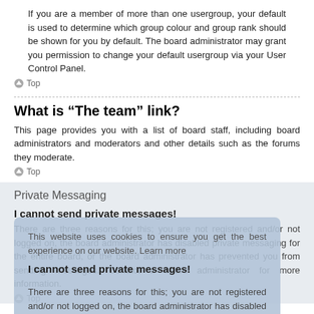If you are a member of more than one usergroup, your default is used to determine which group colour and group rank should be shown for you by default. The board administrator may grant you permission to change your default usergroup via your User Control Panel.
Top
What is “The team” link?
This page provides you with a list of board staff, including board administrators and moderators and other details such as the forums they moderate.
Top
Private Messaging
I cannot send private messages!
There are three reasons for this; you are not registered and/or not logged on, the board administrator has disabled private messaging for the entire board, or the board administrator has prevented you from sending messages. Contact a board administrator for more information.
Top